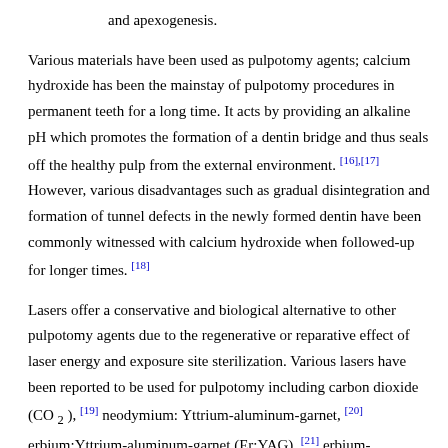and apexogenesis.
Various materials have been used as pulpotomy agents; calcium hydroxide has been the mainstay of pulpotomy procedures in permanent teeth for a long time. It acts by providing an alkaline pH which promotes the formation of a dentin bridge and thus seals off the healthy pulp from the external environment. [16],[17] However, various disadvantages such as gradual disintegration and formation of tunnel defects in the newly formed dentin have been commonly witnessed with calcium hydroxide when followed-up for longer times. [18]
Lasers offer a conservative and biological alternative to other pulpotomy agents due to the regenerative or reparative effect of laser energy and exposure site sterilization. Various lasers have been reported to be used for pulpotomy including carbon dioxide (CO2), [19] neodymium: Yttrium-aluminum-garnet, [20] erbium:Yttrium-aluminum-garnet (Er:YAG), [21] erbium-chromium:Yttrium scandium gadolinium garnet [22] and diode lasers. [23] The choice of laser type for any soft-tissue procedure is dependent upon the thermal relaxation time (TRT) of the tissue. It is the time required by the irradiated tissue to cool to 50% of the